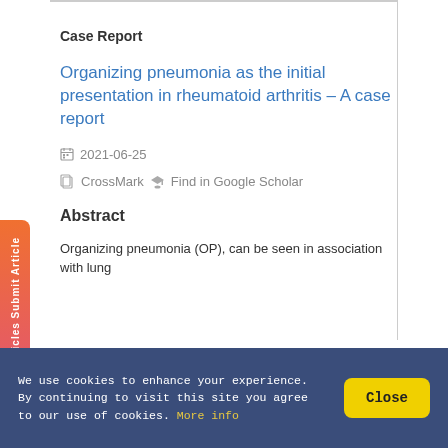Case Report
Organizing pneumonia as the initial presentation in rheumatoid arthritis – A case report
2021-06-25
CrossMark  Find in Google Scholar
Abstract
Organizing pneumonia (OP), can be seen in association with lung
We use cookies to enhance your experience. By continuing to visit this site you agree to our use of cookies. More info